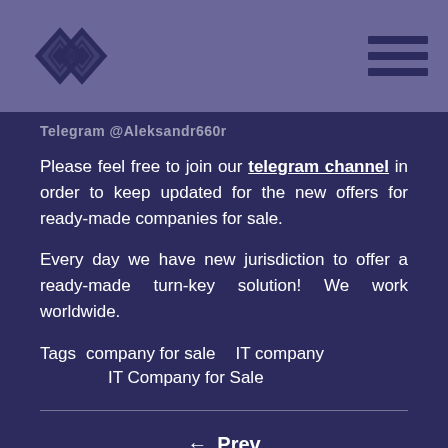Logo and navigation header
Telegram @Aleksandr660r
Please feel free to join our telegram channel in order to keep updated for the new offers for ready-made companies for sale.
Every day we have new jurisdiction to offer a ready-made turn-key solution! We work worldwide.
Tags   company for sale     IT company     IT Company for Sale
← Prev
Next →